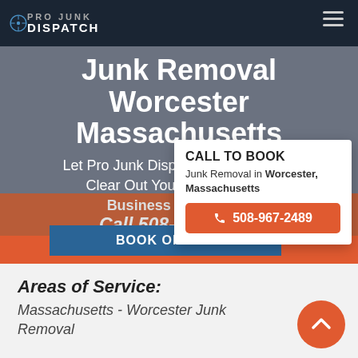[Figure (logo): Pro Junk Dispatch logo with compass icon in dark navy header bar]
Junk Removal Worcester Massachusetts
Let Pro Junk Dispatch Clean Up and Clear Out Your Resi... Business Prop...
Call 508-967-2...
BOOK ONLINE
CALL TO BOOK
Junk Removal in Worcester, Massachusetts
508-967-2489
Areas of Service: Massachusetts - Worcester Junk Removal